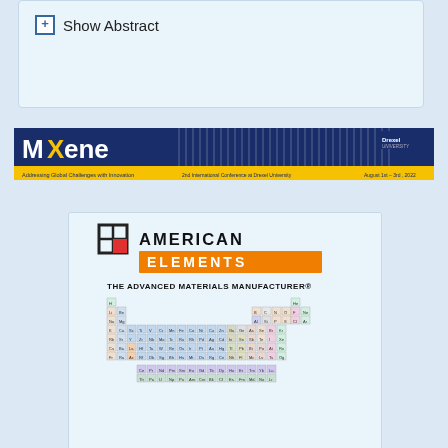+ Show Abstract
[Figure (logo): MXene conference banner with navy blue and gold design, Drexel University logo, text: 'MXene - Addressing Global Challenges with Innovation, 2nd International Conference at Drexel University, August 1st-3rd, 2022']
[Figure (logo): American Elements logo with periodic table graphic. Text: 'AMERICAN ELEMENTS - THE ADVANCED MATERIALS MANUFACTURER®']